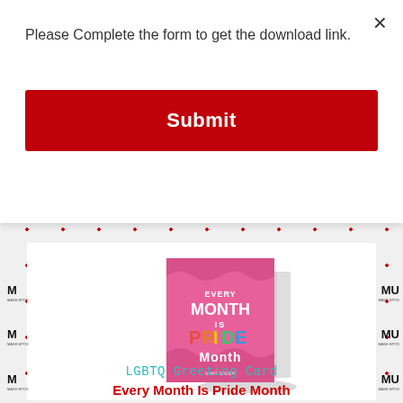Please Complete the form to get the download link.
Submit
[Figure (illustration): Pink greeting card book mockup with text 'Every Month is Pride Month' in colorful lettering on pink background with wave patterns]
LGBTQ Greeting Card
Every Month Is Pride Month